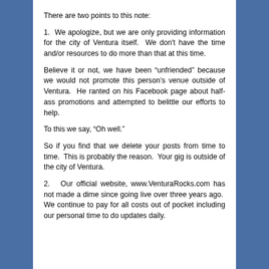There are two points to this note:
1.  We apologize, but we are only providing information for the city of Ventura itself.  We don't have the time and/or resources to do more than that at this time.
Believe it or not, we have been “unfriended” because we would not promote this person’s venue outside of Ventura.  He ranted on his Facebook page about half-ass promotions and attempted to belittle our efforts to help.
To this we say, “Oh well.”
So if you find that we delete your posts from time to time.  This is probably the reason.  Your gig is outside of the city of Ventura.
2.   Our official website, www.VenturaRocks.com has not made a dime since going live over three years ago.  We continue to pay for all costs out of pocket including our personal time to do updates daily.